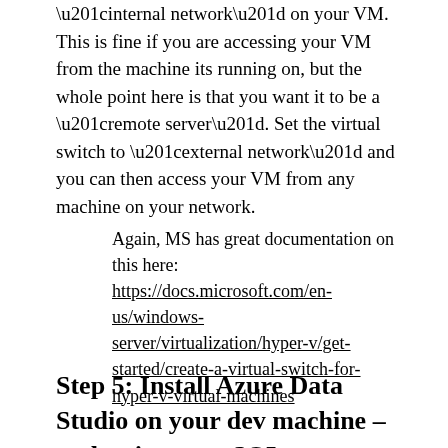“internal network” on your VM. This is fine if you are accessing your VM from the machine its running on, but the whole point here is that you want it to be a “remote server”. Set the virtual switch to “external network” and you can then access your VM from any machine on your network.
Again, MS has great documentation on this here: https://docs.microsoft.com/en-us/windows-server/virtualization/hyper-v/get-started/create-a-virtual-switch-for-hyper-v-virtual-machines
Step 5: Install Azure Data Studio on your dev machine – and write some SQL...